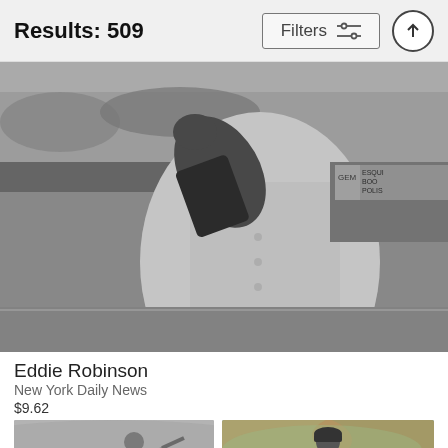Results: 509
Filters
[Figure (photo): Black and white photo of a baseball player (Eddie Robinson) in a Yankees uniform mid-pitch or wind-up, with stadium advertisements visible in the background including 'GEM' and 'ESQUIRE BOOT POLISH']
Eddie Robinson
New York Daily News
$9.62
[Figure (photo): Black and white photo of a baseball player in Yankees uniform in a batting or throwing stance on a field]
[Figure (photo): Color photo of a New York Yankees pitcher in white uniform mid-delivery, wearing a black cap with NY logo, with crowd in the background]